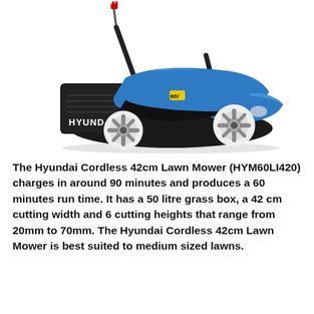[Figure (photo): A Hyundai cordless lawn mower (HYM60LI420) shown at an angle. The mower has a blue and black body with white wheels, a black grass collection bag on the left side with HYUNDAI branding, a blue hood/body, and a power cord with red plug visible at the top of the handle. The handle is black metal.]
The Hyundai Cordless 42cm Lawn Mower (HYM60LI420) charges in around 90 minutes and produces a 60 minutes run time. It has a 50 litre grass box, a 42 cm cutting width and 6 cutting heights that range from 20mm to 70mm. The Hyundai Cordless 42cm Lawn Mower is best suited to medium sized lawns.